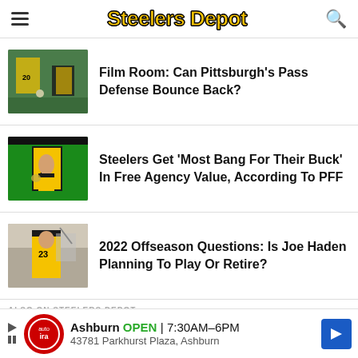Steelers Depot
Film Room: Can Pittsburgh's Pass Defense Bounce Back?
Steelers Get ‘Most Bang For Their Buck’ In Free Agency Value, According To PFF
2022 Offseason Questions: Is Joe Haden Planning To Play Or Retire?
ALSO ON STEELERS DEPOT
Ashburn OPEN 7:30AM–6PM 43781 Parkhurst Plaza, Ashburn